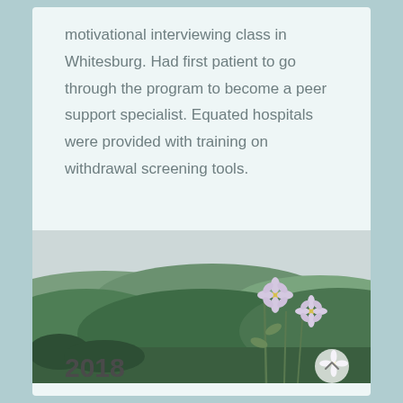motivational interviewing class in Whitesburg. Had first patient to go through the program to become a peer support specialist. Equated hospitals were provided with training on withdrawal screening tools.
[Figure (photo): Outdoor landscape photo showing rolling green hills in the background with purple and white daisy-like wildflowers in the foreground, overcast sky.]
2018